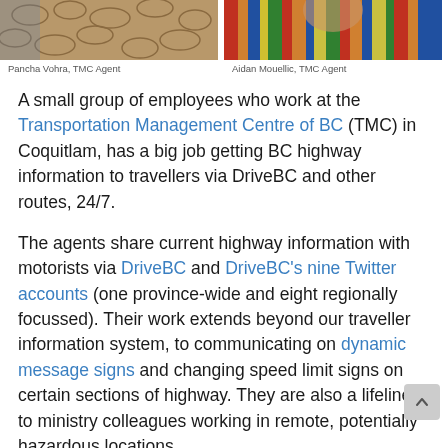[Figure (photo): Top portion of two side-by-side photos of TMC agents — left shows person in snakeskin-patterned clothing, right shows person in colorful striped clothing]
Pancha Vohra, TMC Agent
Aidan Mouellic, TMC Agent
A small group of employees who work at the Transportation Management Centre of BC (TMC) in Coquitlam, has a big job getting BC highway information to travellers via DriveBC and other routes, 24/7.
The agents share current highway information with motorists via DriveBC and DriveBC's nine Twitter accounts (one province-wide and eight regionally focussed). Their work extends beyond our traveller information system, to communicating on dynamic message signs and changing speed limit signs on certain sections of highway. They are also a lifeline to ministry colleagues working in remote, potentially hazardous locations.